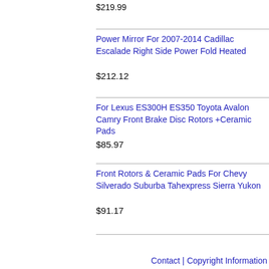$219.99
Power Mirror For 2007-2014 Cadillac Escalade Right Side Power Fold Heated
$212.12
For Lexus ES300H ES350 Toyota Avalon Camry Front Brake Disc Rotors +Ceramic Pads
$85.97
Front Rotors & Ceramic Pads For Chevy Silverado Suburba Tahexpress Sierra Yukon
$91.17
Contact | Copyright Information